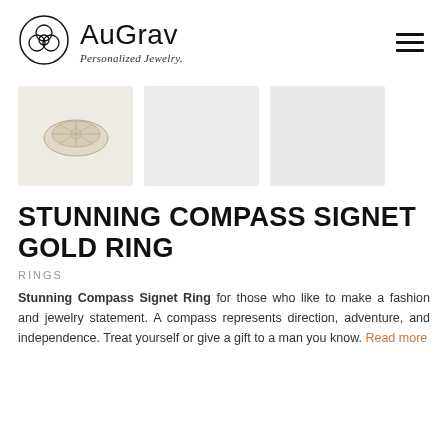AuGrav Personalized Jewelry.
[Figure (photo): Three product thumbnail images of the Stunning Compass Signet Gold Ring. First thumbnail shows the ring product photo; second and third are blank/placeholder light gray squares.]
STUNNING COMPASS SIGNET GOLD RING
RINGS
Stunning Compass Signet Ring for those who like to make a fashion and jewelry statement. A compass represents direction, adventure, and independence. Treat yourself or give a gift to a man you know. Read more